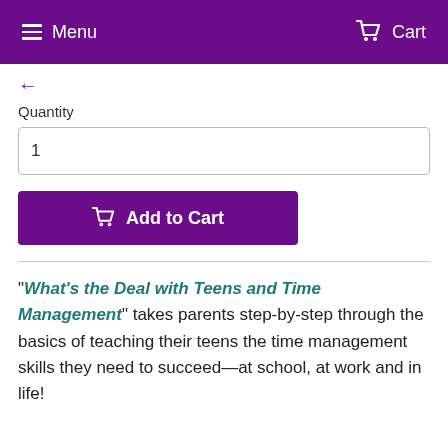Menu  Cart
Quantity
1
Add to Cart
"What's the Deal with Teens and Time Management" takes parents step-by-step through the basics of teaching their teens the time management skills they need to succeed—at school, at work and in life!